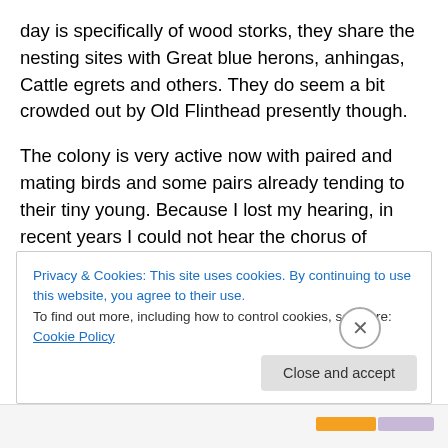day is specifically of wood storks, they share the nesting sites with Great blue herons, anhingas, Cattle egrets and others. They do seem a bit crowded out by Old Flinthead presently though.
The colony is very active now with paired and mating birds and some pairs already tending to their tiny young. Because I lost my hearing, in recent years I could not hear the chorus of hungry chicks I loved so much. A fellow birder told me that the juvenile wood works bills hitting each other sounds like baseball bats. My cochlear implant
Privacy & Cookies: This site uses cookies. By continuing to use this website, you agree to their use.
To find out more, including how to control cookies, see here: Cookie Policy